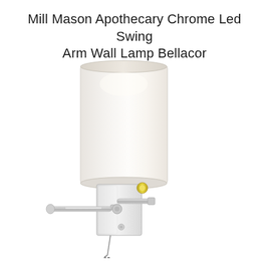Mill Mason Apothecary Chrome Led Swing Arm Wall Lamp Bellacor
[Figure (photo): A chrome swing arm wall lamp with a white cylindrical fabric shade, mounted on a square chrome backplate with an articulating arm, shown on a white background.]